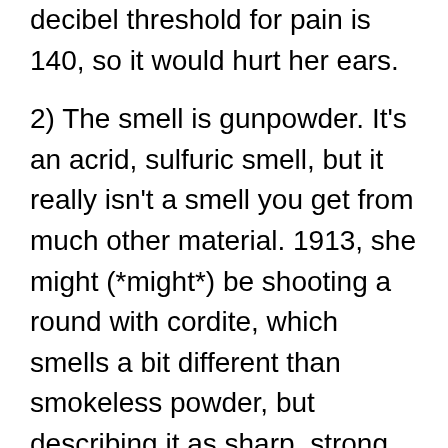decibel threshold for pain is 140, so it would hurt her ears.
2) The smell is gunpowder. It's an acrid, sulfuric smell, but it really isn't a smell you get from much other material. 1913, she might (*might*) be shooting a round with cordite, which smells a bit different than smokeless powder, but describing it as sharp, strong, chemical, burnt, et cetera should get the point across. If you're not in a gun restricted country, find a handgun range and go sniff for